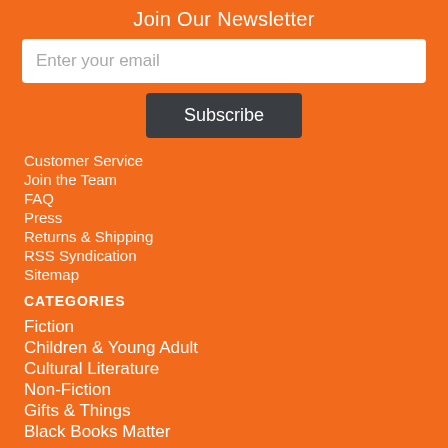Join Our Newsletter
Enter your email
Subscribe
Customer Service
Join the Team
FAQ
Press
Returns & Shipping
RSS Syndication
Sitemap
CATEGORIES
Fiction
Children & Young Adult
Cultural Literature
Non-Fiction
Gifts & Things
Black Books Matter